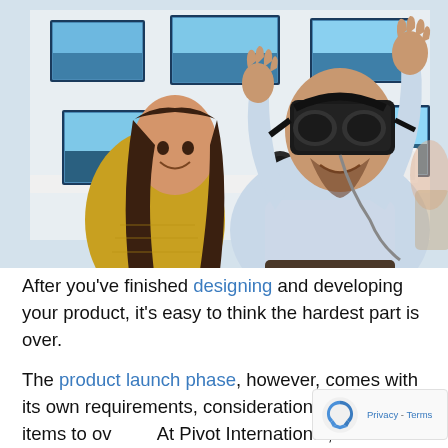[Figure (photo): A man wearing a VR headset with both arms raised in excitement in an electronics store, while a woman in a yellow sweater sits beside him smiling and watching. The background shows multiple flat-screen TVs mounted on a white wall.]
After you've finished designing and developing your product, it's easy to think the hardest part is over.

The product launch phase, however, comes with its own requirements, considerations, and many items to ov... At Pivot International, we've found having a checkli... this stage is critical. In order to ensure a successful...